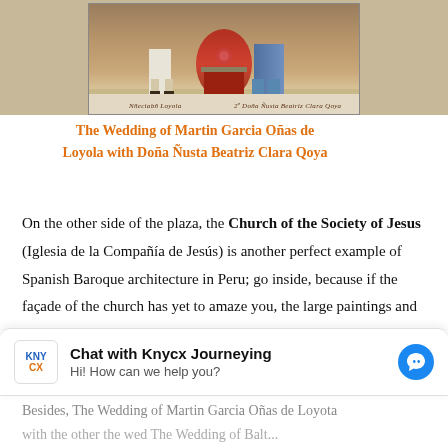[Figure (photo): Partial view of a colonial-era painting showing robed figures with script text at the bottom edge]
The Wedding of Martin Garcia Oñas de Loyola with Doña Ñusta Beatriz Clara Qoya
On the other side of the plaza, the Church of the Society of Jesus (Iglesia de la Compañía de Jesús) is another perfect example of Spanish Baroque architecture in Peru; go inside, because if the façade of the church has yet to amaze you, the large paintings and altarpiece may impress you even more. The painting at the altar features a painting of
Chat with Knycx Journeying
Hi! How can we help you?
Besides, The Wedding of Martin Garcia Oñas de Loyota with the other the wed The Wedding of Balt...